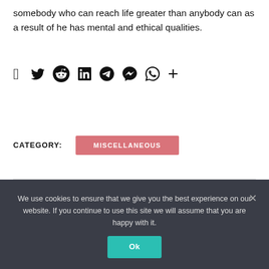somebody who can reach life greater than anybody can as a result of he has mental and ethical qualities.
[Figure (other): Social share icons: Facebook, Twitter, Reddit, LinkedIn, Telegram, Messenger, WhatsApp, and plus button]
CATEGORY: MISCELLANEOUS
← PREVIOUS ARTICLE
What kind of plastic is Zytel?
NEXT ARTICLE →
What is the only developed country in Africa?
We use cookies to ensure that we give you the best experience on our website. If you continue to use this site we will assume that you are happy with it. Ok